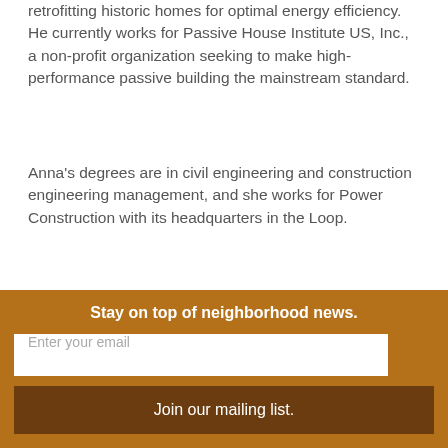retrofitting historic homes for optimal energy efficiency. He currently works for Passive House Institute US, Inc., a non-profit organization seeking to make high-performance passive building the mainstream standard.
Anna's degrees are in civil engineering and construction engineering management, and she works for Power Construction with its headquarters in the Loop.
“When we chose Beverly/Morgan Park, it was important to prioritize Al’s commute to school and work,” Anna said. “I’m always visiting sites around downtown and the suburbs, so I’m
Stay on top of neighborhood news.
Enter your email
Join our mailing list.